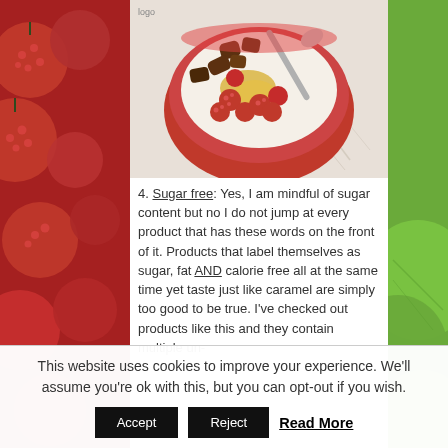[Figure (photo): Top-down view of a red bowl containing yogurt topped with raspberries, granola/chocolate clusters, and golden seeds/pollen, with a spoon resting in it. Background shows a light surface with partial illustrations.]
4. Sugar free: Yes, I am mindful of sugar content but no I do not jump at every product that has these words on the front of it. Products that label themselves as sugar, fat AND calorie free all at the same time yet taste just like caramel are simply too good to be true. I've checked out products like this and they contain multiple un-
This website uses cookies to improve your experience. We'll assume you're ok with this, but you can opt-out if you wish.
Accept   Reject   Read More